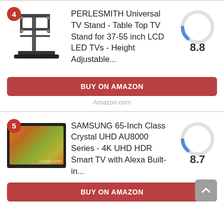[Figure (other): Product listing card for PERLESMITH Universal TV Stand with rank badge 4, product image, score circle 8.8, BUY ON AMAZON button, and Amazon.com label]
PERLESMITH Universal TV Stand - Table Top TV Stand for 37-55 inch LCD LED TVs - Height Adjustable...
8.8
BUY ON AMAZON
Amazon.com
[Figure (other): Product listing card for SAMSUNG 65-Inch Class Crystal UHD AU8000 Series with rank badge 5, product image, score circle 8.7, BUY ON AMAZON button]
SAMSUNG 65-Inch Class Crystal UHD AU8000 Series - 4K UHD HDR Smart TV with Alexa Built-in...
8.7
BUY ON AMAZON